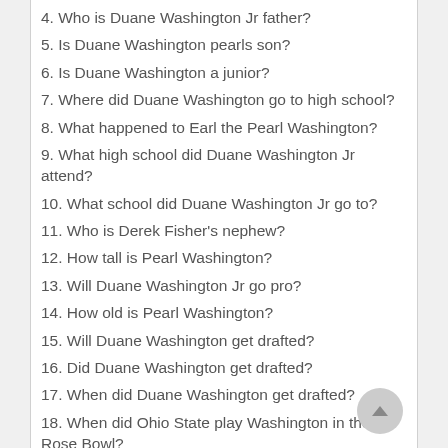4. Who is Duane Washington Jr father?
5. Is Duane Washington pearls son?
6. Is Duane Washington a junior?
7. Where did Duane Washington go to high school?
8. What happened to Earl the Pearl Washington?
9. What high school did Duane Washington Jr attend?
10. What school did Duane Washington Jr go to?
11. Who is Derek Fisher's nephew?
12. How tall is Pearl Washington?
13. Will Duane Washington Jr go pro?
14. How old is Pearl Washington?
15. Will Duane Washington get drafted?
16. Did Duane Washington get drafted?
17. When did Duane Washington get drafted?
18. When did Ohio State play Washington in the Rose Bowl?
19. Who is Mark Jackson's brother?
20. Is Pearl Washington still alive?
21. Is Duane Washington Jr coming back?
22. Where is Duane Ohio State?